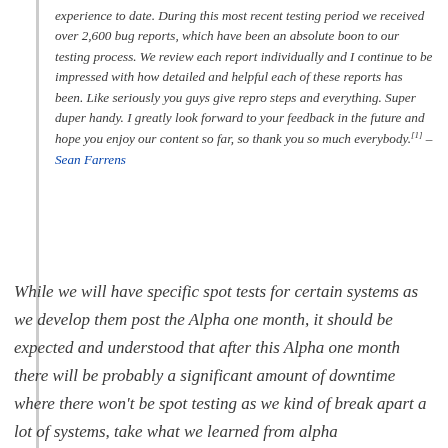experience to date. During this most recent testing period we received over 2,600 bug reports, which have been an absolute boon to our testing process. We review each report individually and I continue to be impressed with how detailed and helpful each of these reports has been. Like seriously you guys give repro steps and everything. Super duper handy. I greatly look forward to your feedback in the future and hope you enjoy our content so far, so thank you so much everybody.[1] – Sean Farrens
While we will have specific spot tests for certain systems as we develop them post the Alpha one month, it should be expected and understood that after this Alpha one month there will be probably a significant amount of downtime where there won't be spot testing as we kind of break apart a lot of systems, take what we learned from alpha